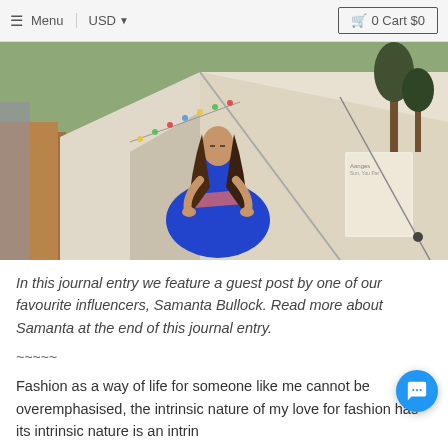Menu  USD  0 Cart $0
[Figure (photo): A woman in a blue dress sitting cross-legged in a meditation pose in front of a white canvas tent outdoors, with string lights and trees in the background.]
In this journal entry we feature a guest post by one of our favourite influencers, Samanta Bullock. Read more about Samanta at the end of this journal entry.
~~~~~
Fashion as a way of life for someone like me cannot be overemphasised, the intrinsic nature of my love for fashion has its intrinsic nature is an intrinsic position